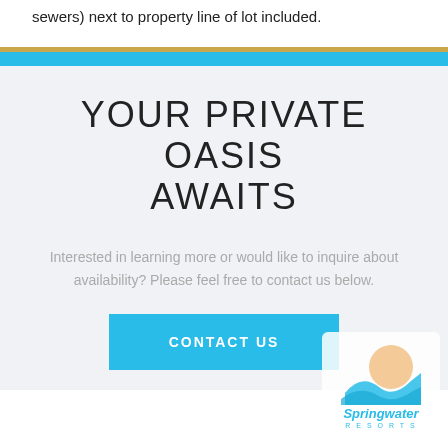sewers) next to property line of lot included.
YOUR PRIVATE OASIS AWAITS
Interested in learning more or would like to inquire about availability? Please feel free to contact us below.
CONTACT US
[Figure (logo): Springwater logo with sun and wave graphic, teal text reading 'Springwater' and subtitle 'RESORTS']